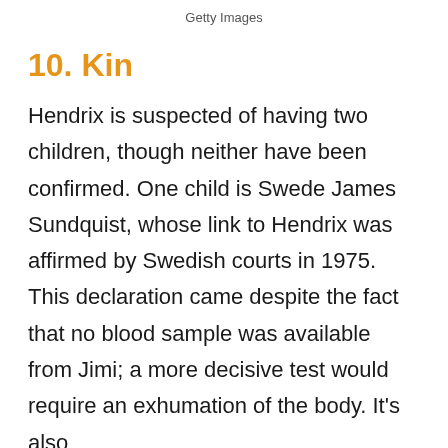Getty Images
10. Kin
Hendrix is suspected of having two children, though neither have been confirmed. One child is Swede James Sundquist, whose link to Hendrix was affirmed by Swedish courts in 1975. This declaration came despite the fact that no blood sample was available from Jimi; a more decisive test would require an exhumation of the body. It's also